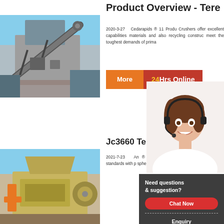Product Overview - Tere
[Figure (photo): Industrial crusher/conveyor machinery at a job site, steel structure with belt conveyor]
2020-3-27  Cedarapids ® 11 Product Crushers offer excellent capabilities materials and also recycling construction meet the toughest demands of primary
[Figure (infographic): More button (orange) and 24Hrs Online button (red) with customer service representative photo wearing headset]
Jc3660 Te ic
[Figure (photo): Yellow/tan colored jaw crusher machine on construction site]
2021-7-23  An ® International high performance and de standards with p spherical self-a gs.
[Figure (infographic): Chat panel overlay: Need questions & suggestion? Chat Now button, dashed line, Enquiry button, dashed line, limingjlmofen text]